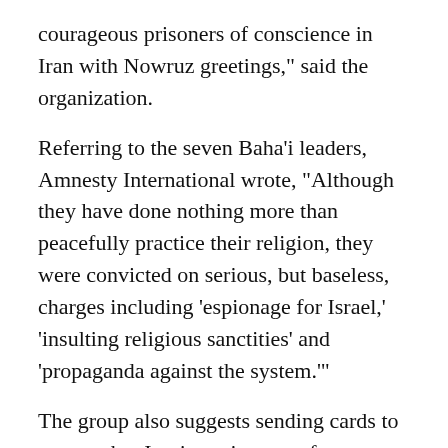courageous prisoners of conscience in Iran with Nowruz greetings," said the organization.
Referring to the seven Baha'i leaders, Amnesty International wrote, "Although they have done nothing more than peacefully practice their religion, they were convicted on serious, but baseless, charges including 'espionage for Israel,' 'insulting religious sanctities' and 'propaganda against the system.'"
The group also suggests sending cards to seven other Iranian prisoners of conscience, depicting scenes "in keeping with the spirit of the holiday and the message of hope and renewal."
"The support of Amnesty International USA is greatly appreciated," said Bani Dugal, the principal